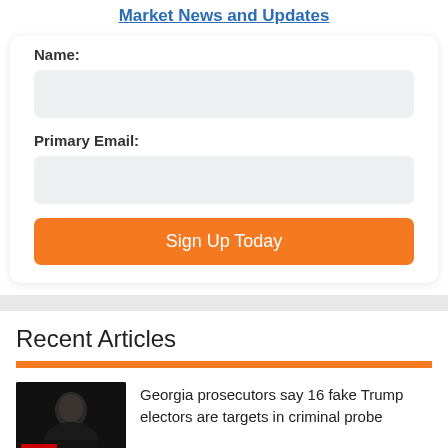Market News and Updates
Name:
Primary Email:
Sign Up Today
Recent Articles
[Figure (photo): CNN thumbnail image showing a silhouette of a person (Trump) against a dark background with CNN logo badge in red at the bottom left]
Georgia prosecutors say 16 fake Trump electors are targets in criminal probe